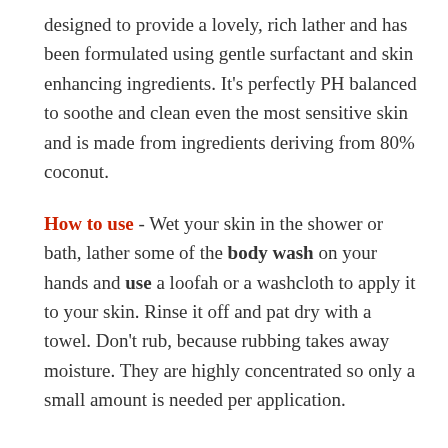designed to provide a lovely, rich lather and has been formulated using gentle surfactant and skin enhancing ingredients. It's perfectly PH balanced to soothe and clean even the most sensitive skin and is made from ingredients deriving from 80% coconut.
How to use - Wet your skin in the shower or bath, lather some of the body wash on your hands and use a loofah or a washcloth to apply it to your skin. Rinse it off and pat dry with a towel. Don't rub, because rubbing takes away moisture. They are highly concentrated so only a small amount is needed per application.